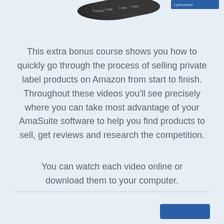[Figure (illustration): Stacked dark disc/DVD course icons on the left, and a dark blue/navy rectangular button on the right, partially visible at the top of the page.]
This extra bonus course shows you how to quickly go through the process of selling private label products on Amazon from start to finish. Throughout these videos you'll see precisely where you can take most advantage of your AmaSuite software to help you find products to sell, get reviews and research the competition.
You can watch each video online or download them to your computer.